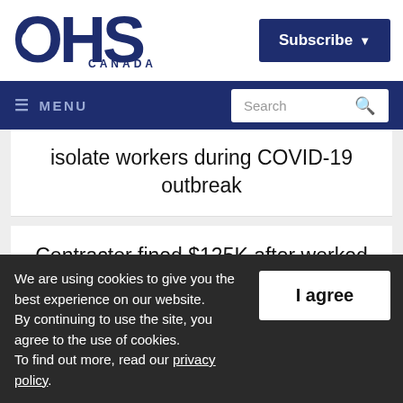[Figure (logo): OHS Canada logo — large bold letters OHS in dark navy blue with CANADA in smaller text below]
Subscribe ▾
☰ MENU   Search 🔍
isolate workers during COVID-19 outbreak
Contractor fined $125K after worked killed on Toronto construction site
We are using cookies to give you the best experience on our website.
By continuing to use the site, you agree to the use of cookies.
To find out more, read our privacy policy.
I agree